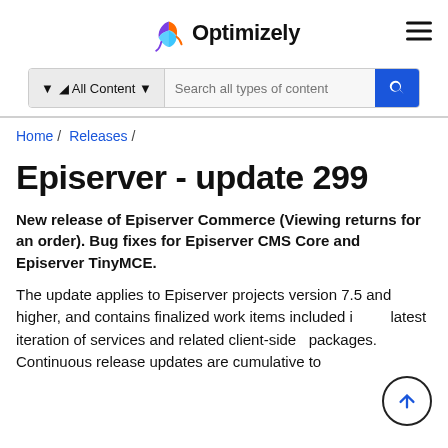Optimizely
All Content  Search all types of content
Home / Releases /
Episerver - update 299
New release of Episerver Commerce (Viewing returns for an order). Bug fixes for Episerver CMS Core and Episerver TinyMCE.
The update applies to Episerver projects version 7.5 and higher, and contains finalized work items included in the latest iteration of services and related client-side packages. Continuous release updates are cumulative to